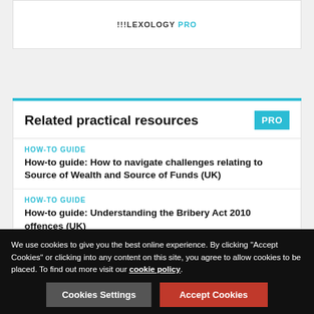[Figure (logo): Lexology PRO logo]
Related practical resources
HOW-TO GUIDE
How-to guide: How to navigate challenges relating to Source of Wealth and Source of Funds (UK)
HOW-TO GUIDE
How-to guide: Understanding the Bribery Act 2010 offences (UK)
HOW-TO GUIDE
How-to guide: How to draft an antitrust–unfair trade
We use cookies to give you the best online experience. By clicking "Accept Cookies" or clicking into any content on this site, you agree to allow cookies to be placed. To find out more visit our cookie policy